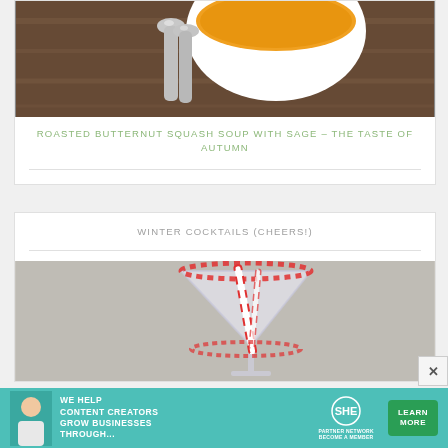[Figure (photo): Food photo showing a white bowl of orange butternut squash soup with silver spoons on a dark wooden surface, cropped at top]
ROASTED BUTTERNUT SQUASH SOUP WITH SAGE – THE TASTE OF AUTUMN
WINTER COCKTAILS (CHEERS!)
[Figure (photo): Photo of a martini glass with a red candy cane rimmed edge and a red and white striped straw, winter cocktail presentation, grey background]
[Figure (infographic): Advertisement banner for SHE Media Partner Network: teal background with woman photo, text 'WE HELP CONTENT CREATORS GROW BUSINESSES THROUGH...', SHE logo, and green Learn More button]